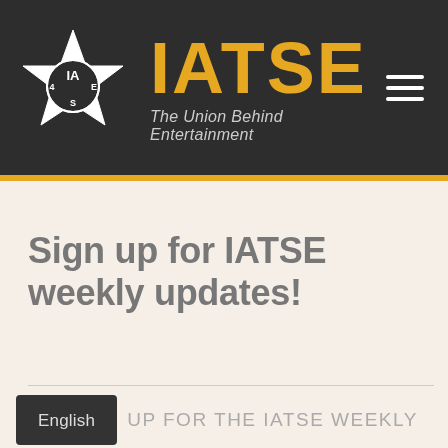[Figure (logo): IATSE star/gear union logo in white on dark background, with text IATSE in gold and tagline The Union Behind Entertainment in grey italic]
IATSE — The Union Behind Entertainment
Sign up for IATSE weekly updates!
English  SIGN UP FOR THE IATSE WEEKLY